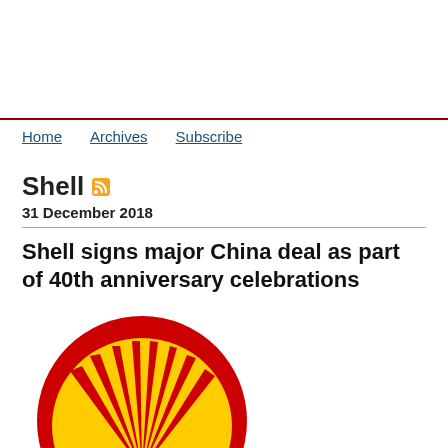Home  Archives  Subscribe
Shell
31 December 2018
Shell signs major China deal as part of 40th anniversary celebrations
[Figure (logo): Shell pecten logo — red and yellow shell emblem, partially cropped at bottom of page]